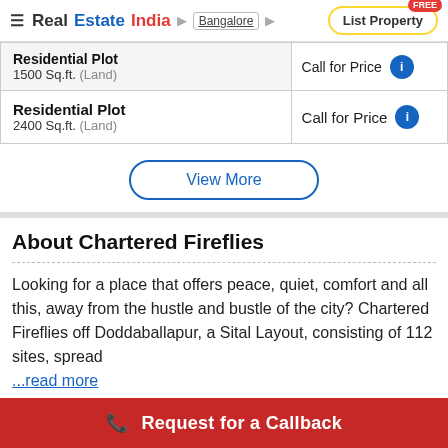RealEstateIndia | Bangalore | List Property
| Property | Price |  |
| --- | --- | --- |
| Residential Plot
1500 Sq.ft. (Land) | Call for Price | i |
| Residential Plot
2400 Sq.ft. (Land) | Call for Price | i |
View More
About Chartered Fireflies
Looking for a place that offers peace, quiet, comfort and all this, away from the hustle and bustle of the city? Chartered Fireflies off Doddaballapur, a Sital Layout, consisting of 112 sites, spread ...read more
Request for a Callback